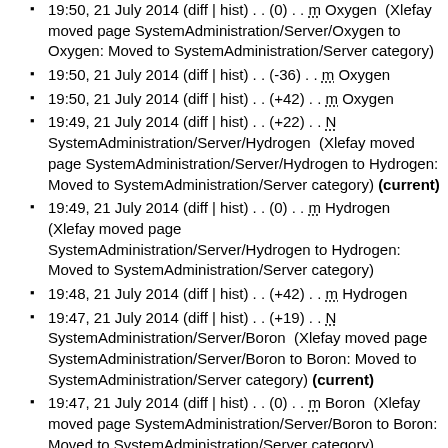19:50, 21 July 2014 (diff | hist) . . (0) . . m Oxygen (Xlefay moved page SystemAdministration/Server/Oxygen to Oxygen: Moved to SystemAdministration/Server category)
19:50, 21 July 2014 (diff | hist) . . (-36) . . m Oxygen
19:50, 21 July 2014 (diff | hist) . . (+42) . . m Oxygen
19:49, 21 July 2014 (diff | hist) . . (+22) . . N SystemAdministration/Server/Hydrogen (Xlefay moved page SystemAdministration/Server/Hydrogen to Hydrogen: Moved to SystemAdministration/Server category) (current)
19:49, 21 July 2014 (diff | hist) . . (0) . . m Hydrogen (Xlefay moved page SystemAdministration/Server/Hydrogen to Hydrogen: Moved to SystemAdministration/Server category)
19:48, 21 July 2014 (diff | hist) . . (+42) . . m Hydrogen
19:47, 21 July 2014 (diff | hist) . . (+19) . . N SystemAdministration/Server/Boron (Xlefay moved page SystemAdministration/Server/Boron to Boron: Moved to SystemAdministration/Server category) (current)
19:47, 21 July 2014 (diff | hist) . . (0) . . m Boron (Xlefay moved page SystemAdministration/Server/Boron to Boron: Moved to SystemAdministration/Server category)
19:47, 21 July 2014 (diff | hist) . . (+42) . . m Boron
19:44, 21 July 2014 (diff | hist) . . (+262) . . N Category:SystemAdministration/Servers (Created page with "This page contains a list with all SoylentNews Servers. You can click on a servers name and you will be presented with a